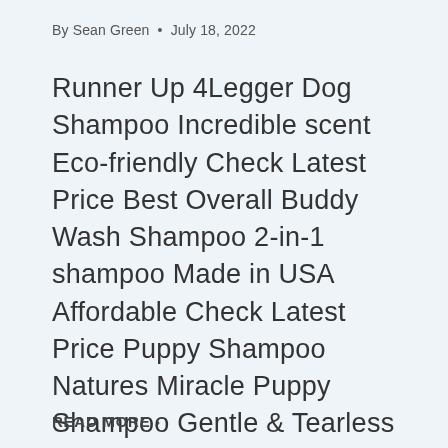By Sean Green · July 18, 2022
Runner Up 4Legger Dog Shampoo Incredible scent Eco-friendly Check Latest Price Best Overall Buddy Wash Shampoo 2-in-1 shampoo Made in USA Affordable Check Latest Price Puppy Shampoo Natures Miracle Puppy Shampoo Gentle & Tearless Made in the USA Check Latest Price The adorable face of the French Bulldog is something that instantly captures the hearts…
READ MORE